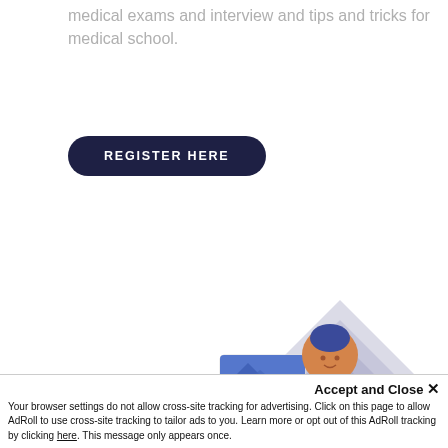medical exams and interview and tips and tricks for medical school.
REGISTER HERE
[Figure (illustration): Illustration showing two cartoon figures and a geometric chevron/mountain pattern in muted purple tones]
This website uses cookies to ensure you get the best experience on our website. Learn more
Accept and Close ✕
Your browser settings do not allow cross-site tracking for advertising. Click on this page to allow AdRoll to use cross-site tracking to tailor ads to you. Learn more or opt out of this AdRoll tracking by clicking here. This message only appears once.